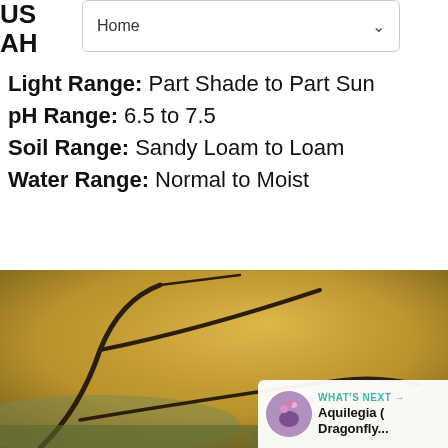Home
Light Range: Part Shade to Part Sun
pH Range: 6.5 to 7.5
Soil Range: Sandy Loam to Loam
Water Range: Normal to Moist
[Figure (photo): Close-up photograph of bare witch-hazel branches with small spidery flowers against a blurred golden-brown autumn background. UI overlays include a teal heart button, a share count of 1, a share button, and a 'WHAT'S NEXT' card showing Aquilegia (Dragonfly...).]